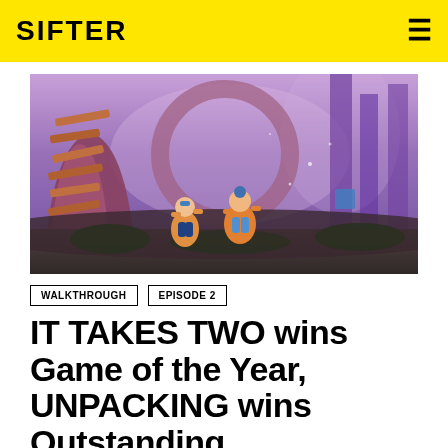SIFTER
[Figure (photo): Screenshot from 'It Takes Two' video game showing two animated characters in a fantastical forest environment with large twisted purple/pink trees and wooden spiral structures.]
WALKTHROUGH
EPISODE 2
IT TAKES TWO wins Game of the Year, UNPACKING wins Outstanding Achievement for Indie Game at 25th annual